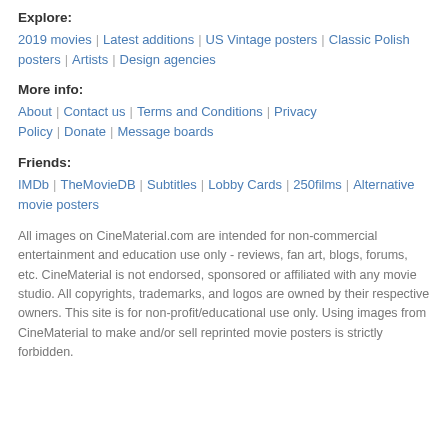Explore:
2019 movies | Latest additions | US Vintage posters | Classic Polish posters | Artists | Design agencies
More info:
About | Contact us | Terms and Conditions | Privacy Policy | Donate | Message boards
Friends:
IMDb | TheMovieDB | Subtitles | Lobby Cards | 250films | Alternative movie posters
All images on CineMaterial.com are intended for non-commercial entertainment and education use only - reviews, fan art, blogs, forums, etc. CineMaterial is not endorsed, sponsored or affiliated with any movie studio. All copyrights, trademarks, and logos are owned by their respective owners. This site is for non-profit/educational use only. Using images from CineMaterial to make and/or sell reprinted movie posters is strictly forbidden.